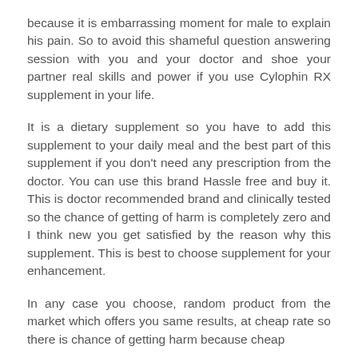because it is embarrassing moment for male to explain his pain. So to avoid this shameful question answering session with you and your doctor and shoe your partner real skills and power if you use Cylophin RX supplement in your life.
It is a dietary supplement so you have to add this supplement to your daily meal and the best part of this supplement if you don't need any prescription from the doctor. You can use this brand Hassle free and buy it. This is doctor recommended brand and clinically tested so the chance of getting of harm is completely zero and I think new you get satisfied by the reason why this supplement. This is best to choose supplement for your enhancement.
In any case you choose, random product from the market which offers you same results, at cheap rate so there is chance of getting harm because cheap